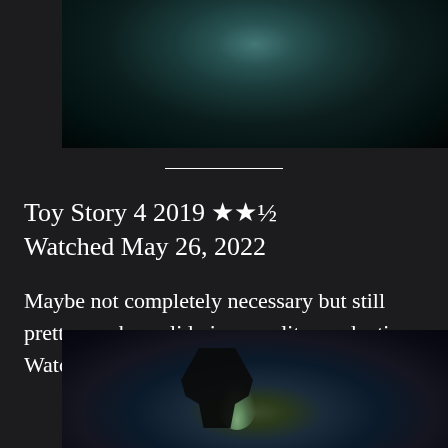[Figure (photo): Dark atmospheric still from a film, dark teal/black tones with smoky or misty background]
Toy Story 4 2019 ★★½
Watched May 26, 2022
Maybe not completely necessary but still pretty much a solid pixar quality production. Watching this just made me want to watch 3.
[Figure (photo): Dark atmospheric still showing a silhouetted figure (cowboy hat) facing away, with a glowing lamp and bokeh lights in background]